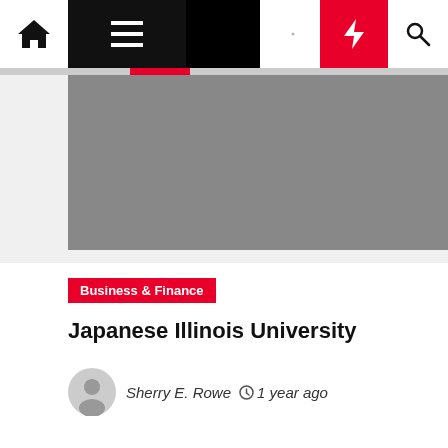Navigation bar with home, menu, moon, lightning, and search icons
[Figure (photo): Gray image placeholder at top of article]
Business & Finance
Japanese Illinois University
Sherry E. Rowe  1 year ago
[Figure (photo): Gray image placeholder below article card]